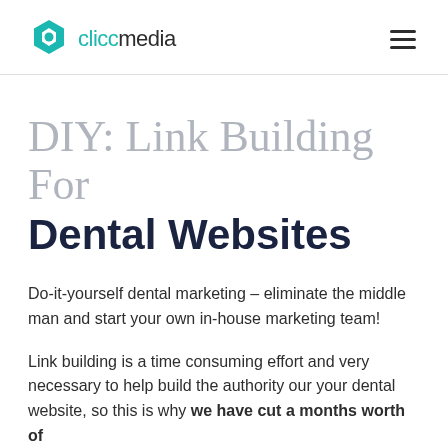cliccmedia
DIY: Link Building For Dental Websites
Do-it-yourself dental marketing – eliminate the middle man and start your own in-house marketing team!
Link building is a time consuming effort and very necessary to help build the authority our your dental website, so this is why we have cut a months worth of